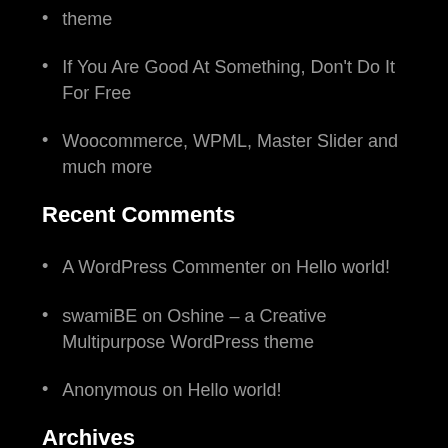theme
If You Are Good At Something, Don't Do It For Free
Woocommerce, WPML, Master Slider and much more
Recent Comments
A WordPress Commenter on Hello world!
swamiBE on Oshine – a Creative Multipurpose WordPress theme
Anonymous on Hello world!
Archives
September 2021